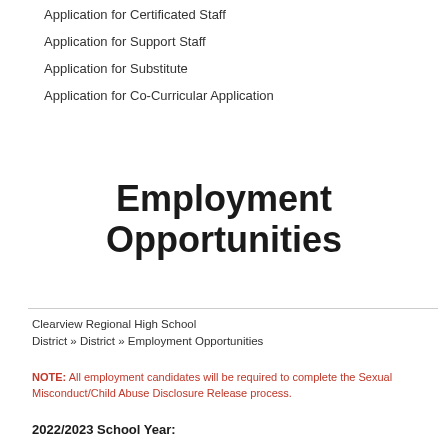Application for Certificated Staff
Application for Support Staff
Application for Substitute
Application for Co-Curricular Application
Employment Opportunities
Clearview Regional High School District » District » Employment Opportunities
NOTE:  All employment candidates will be required to complete the Sexual Misconduct/Child Abuse Disclosure Release process.
2022/2023 School Year: